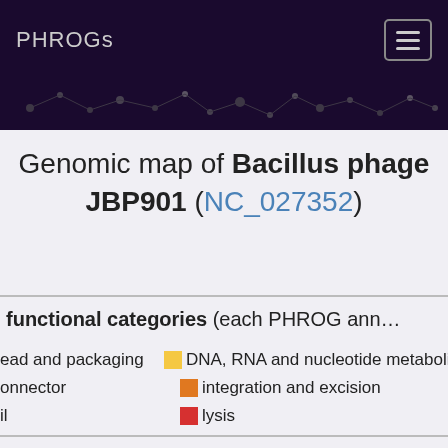PHROGs
Genomic map of Bacillus phage JBP901 (NC_027352)
functional categories (each PHROG ann...
ead and packaging   DNA, RNA and nucleotide metabolis...
onnector   integration and excision
il   lysis